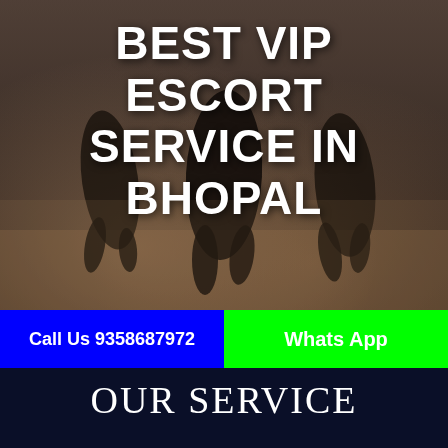[Figure (photo): Background photo of women in black dresses and heels, darkened/dimmed overlay, used as page background for escort service advertisement]
BEST VIP ESCORT SERVICE IN BHOPAL
Call Us 9358687972
Whats App
OUR SERVICE